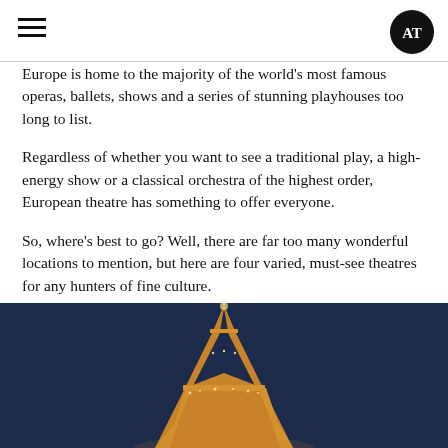AT logo and hamburger menu
Europe is home to the majority of the world’s most famous operas, ballets, shows and a series of stunning playhouses too long to list.
Regardless of whether you want to see a traditional play, a high-energy show or a classical orchestra of the highest order, European theatre has something to offer everyone.
So, where’s best to go? Well, there are far too many wonderful locations to mention, but here are four varied, must-see theatres for any hunters of fine culture.
[Figure (photo): Illuminated Eiffel Tower at night against dark blue sky, viewed from below looking up]